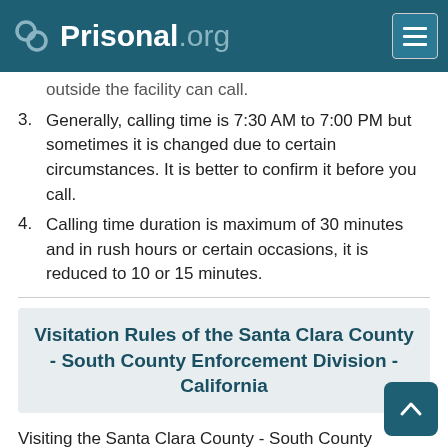Prisonal.org
outside the facility can call.
3. Generally, calling time is 7:30 AM to 7:00 PM but sometimes it is changed due to certain circumstances. It is better to confirm it before you call.
4. Calling time duration is maximum of 30 minutes and in rush hours or certain occasions, it is reduced to 10 or 15 minutes.
Visitation Rules of the Santa Clara County - South County Enforcement Division - California
Visiting the Santa Clara County - South County Enforcement Division of California has some common rules defined by the California Department of Corrections and Rehabilitation (CDCR). Some facilities